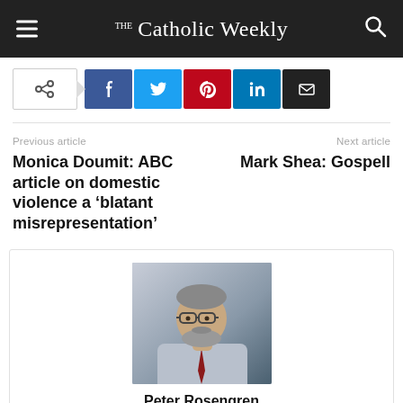The Catholic Weekly
[Figure (screenshot): Social share bar with share toggle, Facebook, Twitter, Pinterest, LinkedIn, and Email buttons]
Previous article
Next article
Monica Doumit: ABC article on domestic violence a ‘blatant misrepresentation’
Mark Shea: Gospell
[Figure (photo): Portrait photo of Peter Rosengren, a middle-aged man with glasses, grey beard, wearing a suit and red tie]
Peter Rosengren